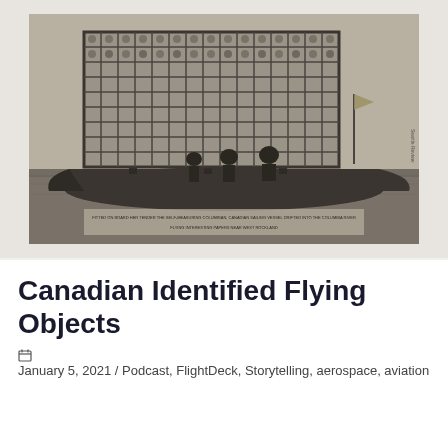[Figure (photo): Black and white historical photograph of a large grid/lattice structure mounted on a boat on water. Several people are visible on the vessel. The structure appears to be an early experimental or scientific apparatus. Text caption is visible at the bottom of the photograph.]
Canadian Identified Flying Objects
January 5, 2021 / Podcast, FlightDeck, Storytelling, aerospace, aviation